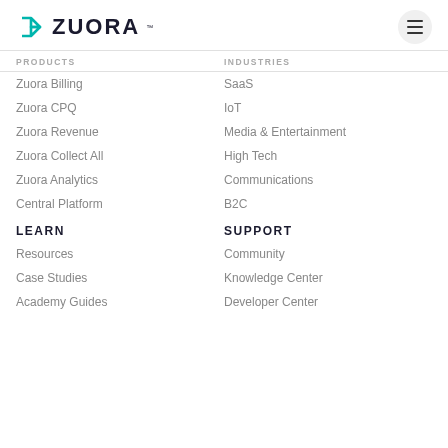ZUORA
PRODUCTS
INDUSTRIES
Zuora Billing
SaaS
Zuora CPQ
IoT
Zuora Revenue
Media & Entertainment
Zuora Collect All
High Tech
Zuora Analytics
Communications
Central Platform
B2C
LEARN
SUPPORT
Resources
Community
Case Studies
Knowledge Center
Academy Guides
Developer Center